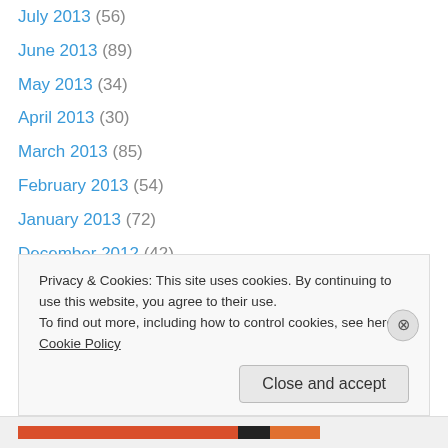July 2013 (56)
June 2013 (89)
May 2013 (34)
April 2013 (30)
March 2013 (85)
February 2013 (54)
January 2013 (72)
December 2012 (42)
November 2012 (107)
October 2012 (128)
September 2012 (174)
August 2012 (143)
July 2012 (175)
Privacy & Cookies: This site uses cookies. By continuing to use this website, you agree to their use. To find out more, including how to control cookies, see here: Cookie Policy